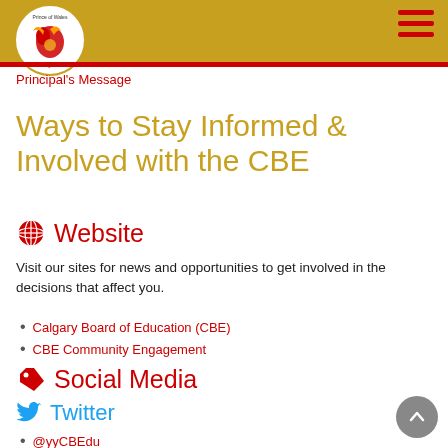Prince of Wales school logo and navigation header
Principal's Message
Ways to Stay Informed & Involved with the CBE
Website
Visit our sites for news and opportunities to get involved in the decisions that affect you.
Calgary Board of Education (CBE)
CBE Community Engagement
Social Media
Twitter
@yyCBEdu